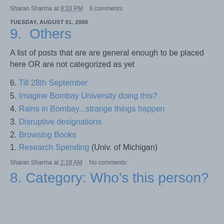Sharan Sharma at 9:33 PM   8 comments:
TUESDAY, AUGUST 01, 2006
9. Others
A list of posts that are are general enough to be placed here OR are not categorized as yet
6. Till 28th September
5. Imagine Bombay University doing this?
4. Rains in Bombay...strange things happen
3. Disruptive designations
2. Browsing Books
1. Research Spending (Univ. of Michigan)
Sharan Sharma at 2:18 AM   No comments:
8. Category: Who's this person?